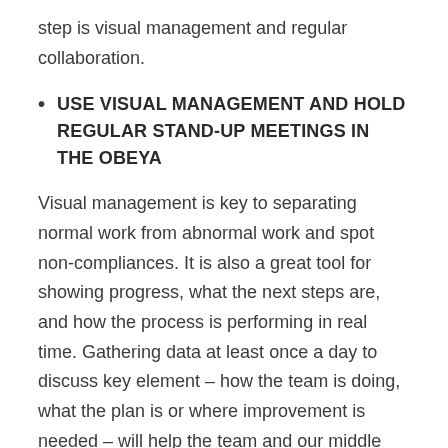step is visual management and regular collaboration.
USE VISUAL MANAGEMENT AND HOLD REGULAR STAND-UP MEETINGS IN THE OBEYA
Visual management is key to separating normal work from abnormal work and spot non-compliances. It is also a great tool for showing progress, what the next steps are, and how the process is performing in real time. Gathering data at least once a day to discuss key element – how the team is doing, what the plan is or where improvement is needed – will help the team and our middle managers to better understand the delivery process, its weak points and where change is necessary. Visual